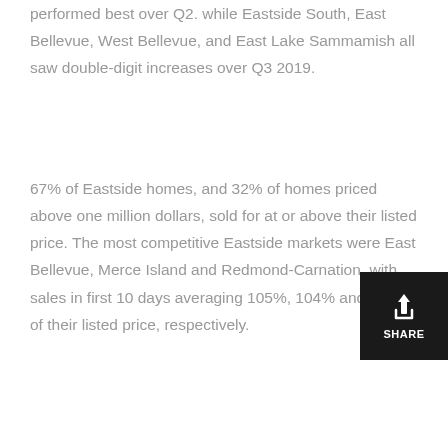performed best over Q2. while Eastside South, East Bellevue, West Bellevue, and East Lake Sammamish all saw double-digit increases over Q3 2019.
67% of Eastside homes, and 32% of homes priced above one million dollars, sold for at or above their listed price. The most competitive Eastside markets were East Bellevue, Mercer Island and Redmond-Carnation, with sales in first 10 days averaging 105%, 104% and 104% of their listed price, respectively.